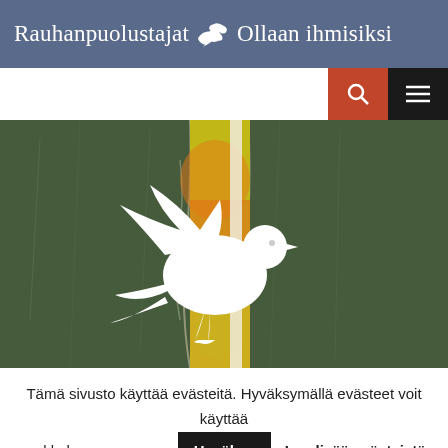Rauhanpuolustajat 🕊 Ollaan ihmisiksi
[Figure (screenshot): Navigation bar with search icon (orange background) and hamburger menu icon (black background)]
[Figure (photo): Hero image: white peace dove silhouette on a background of green panels and yellow/orange colored center panel, resembling broken or layered painted boards]
Tämä sivusto käyttää evästeitä. Hyväksymällä evästeet voit käyttää verkkokauppaamme.
Hyväksy   Lue lisää evästeistä